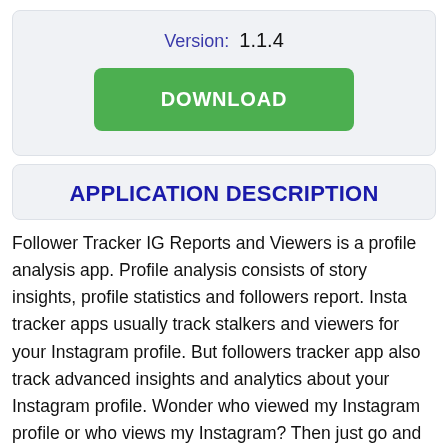Version: 1.1.4
[Figure (other): Green DOWNLOAD button]
APPLICATION DESCRIPTION
Follower Tracker IG Reports and Viewers is a profile analysis app. Profile analysis consists of story insights, profile statistics and followers report. Insta tracker apps usually track stalkers and viewers for your Instagram profile. But followers tracker app also track advanced insights and analytics about your Instagram profile. Wonder who viewed my Instagram profile or who views my Instagram? Then just go and find those ig stalkers on our profile